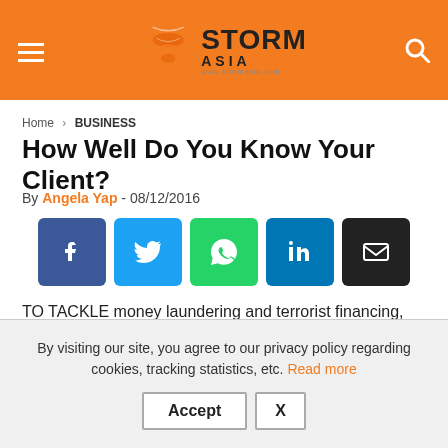Storm Asia — www.stormasia.com
Home › BUSINESS
How Well Do You Know Your Client?
By Angela Yap - 08/12/2016
[Figure (infographic): Social share buttons: Facebook, Twitter, WhatsApp, LinkedIn, Email]
TO TACKLE money laundering and terrorist financing, financial institutions and banks are being forced to rewrite the KYC (Know Your Client) playbook.Revised rules, new technologies,
By visiting our site, you agree to our privacy policy regarding cookies, tracking statistics, etc. Read more
Accept X